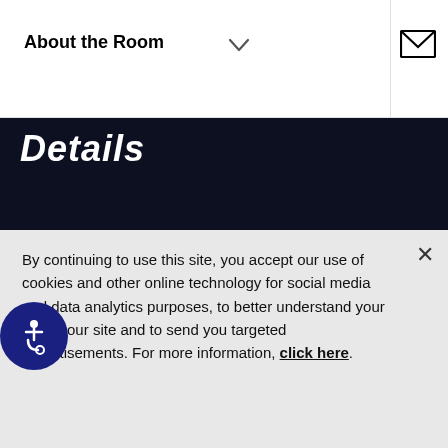About the Room
Details
BENEFITS & AMENITIES
In-house catering and food & drink buyout options available
By continuing to use this site, you accept our use of cookies and other online technology for social media and data analytics purposes, to better understand your use of our site and to send you targeted advertisements. For more information, click here.